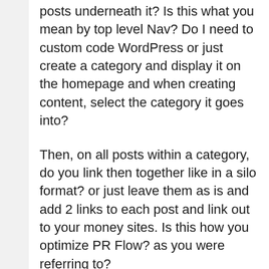posts underneath it? Is this what you mean by top level Nav? Do I need to custom code WordPress or just create a category and display it on the homepage and when creating content, select the category it goes into?
Then, on all posts within a category, do you link then together like in a silo format? or just leave them as is and add 2 links to each post and link out to your money sites. Is this how you optimize PR Flow? as you were referring to?
I just want to learn the best way to setup these WordPress sites so I can boost my money sites. If I have say a small network of 5 or 10 blogs do you link these together or no cause they will pass juice or is that the best way to do it so it lifts all of them up, then link out 2 times from each post to a money site